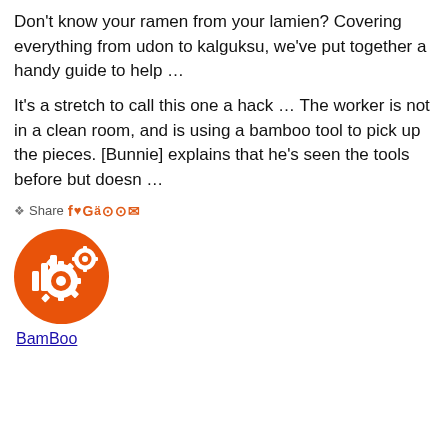Don't know your ramen from your lamien? Covering everything from udon to kalguksu, we've put together a handy guide to help …
It's a stretch to call this one a hack … The worker is not in a clean room, and is using a bamboo tool to pick up the pieces. [Bunnie] explains that he's seen the tools before but doesn …
Share [social icons: f, twitter, G+, and others]
[Figure (logo): Orange circular logo with bar chart and gear/cog icons on white background]
BamBoo